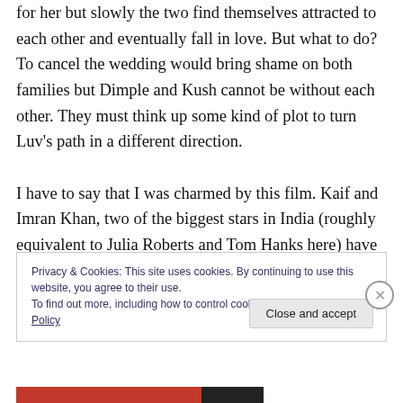for her but slowly the two find themselves attracted to each other and eventually fall in love. But what to do? To cancel the wedding would bring shame on both families but Dimple and Kush cannot be without each other. They must think up some kind of plot to turn Luv's path in a different direction.

I have to say that I was charmed by this film. Kaif and Imran Khan, two of the biggest stars in India (roughly equivalent to Julia Roberts and Tom Hanks here) have some terrific chemistry together; they make an attractive
Privacy & Cookies: This site uses cookies. By continuing to use this website, you agree to their use.
To find out more, including how to control cookies, see here: Cookie Policy
Close and accept